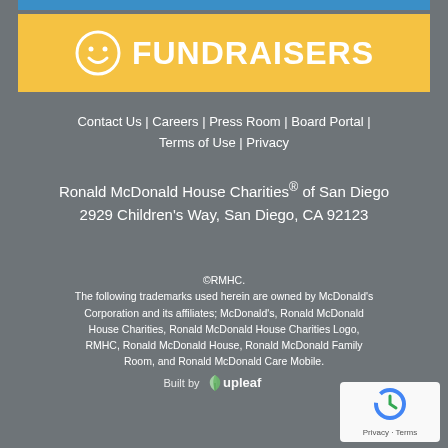[Figure (logo): Yellow banner with smiley face icon and FUNDRAISERS text in white]
Contact Us | Careers | Press Room | Board Portal | Terms of Use | Privacy
Ronald McDonald House Charities® of San Diego
2929 Children's Way, San Diego, CA 92123
©RMHC.
The following trademarks used herein are owned by McDonald's Corporation and its affiliates; McDonald's, Ronald McDonald House Charities, Ronald McDonald House Charities Logo, RMHC, Ronald McDonald House, Ronald McDonald Family Room, and Ronald McDonald Care Mobile.
Built by upleaf
[Figure (logo): reCAPTCHA badge with Privacy and Terms links]